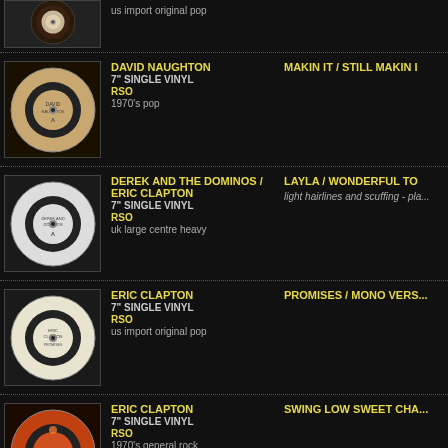[Figure (photo): 7-inch vinyl record photo - partial top row]
us import original pop
[Figure (photo): 7-inch vinyl record - David Naughton, RSO label]
DAVID NAUGHTON
7" SINGLE VINYL
RSO
1970's pop
MAKIN IT / STILL MAKIN I...
[Figure (photo): 7-inch vinyl record - Derek and the Dominos / Eric Clapton, RSO label]
DEREK AND THE DOMINOS / ERIC CLAPTON
7" SINGLE VINYL
RSO
uk large centre heavy
LAYLA / WONDERFUL TO...
light hairlines and scuffing - pla...
[Figure (photo): 7-inch vinyl record - Eric Clapton, RSO label, white label]
ERIC CLAPTON
7" SINGLE VINYL
RSO
us import original pop
PROMISES / MONO VERS...
[Figure (photo): 7-inch vinyl record - Eric Clapton, RSO label, orange/red label]
ERIC CLAPTON
7" SINGLE VINYL
RSO
1970's general rock
SWING LOW SWEET CHA...
[Figure (photo): 7-inch vinyl record - Festival, partial bottom row]
FESTIVAL
DON'T CRY FOR ME AR...